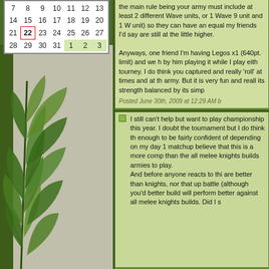| 7 | 8 | 9 | 10 | 11 | 12 | 13 |
| 14 | 15 | 16 | 17 | 18 | 19 | 20 |
| 21 | 22 | 23 | 24 | 25 | 26 | 27 |
| 28 | 29 | 30 | 31 | 1 | 2 | 3 |
[Figure (photo): Green plant leaves against a light stone/concrete background on the left side of the page]
the main rule being your army must include at least 2 different Wave units, or 1 Wave 9 unit and 1 W unit) so they can have an equal my friends I'd say are still at the little higher.
Anyways, one friend I'm having Legos x1 (640pt. limit) and we h by him playing it while I play eith tourney. I do think you captured and really 'roll' at times and at th army. But it is very fun and reall its strength balanced by its simp
Posted June 30th, 2009 at 12:29 AM b
I still can't help but want to play championship this year. I doubt the tournament but I do think th enough to be fairly confident of depending on my day 1 matchup believe that this is a more comp than the all melee knights builds armies to play.
And before anyone reacts to thi are better than knights, nor that up battle (although you'd better build will perform better against all melee knights builds. Did I s